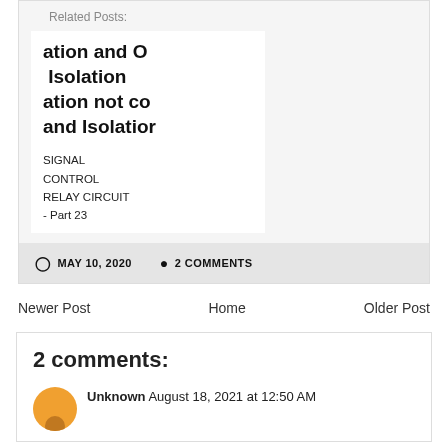Related Posts:
ation and O
Isolation
ation not co
and Isolation
SIGNAL
CONTROL
RELAY CIRCUIT
- Part 23
MAY 10, 2020   2 COMMENTS
Newer Post   Home   Older Post
2 comments:
Unknown  August 18, 2021 at 12:50 AM